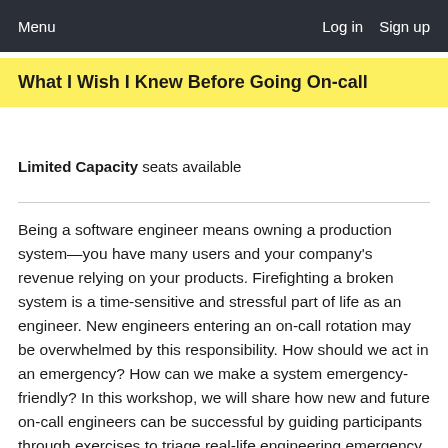Menu   Log in   Sign up
What I Wish I Knew Before Going On-call
Limited Capacity seats available
Being a software engineer means owning a production system—you have many users and your company's revenue relying on your products. Firefighting a broken system is a time-sensitive and stressful part of life as an engineer. New engineers entering an on-call rotation may be overwhelmed by this responsibility. How should we act in an emergency? How can we make a system emergency-friendly? In this workshop, we will share how new and future on-call engineers can be successful by guiding participants through exercises to triage real-life engineering emergency scenarios. We will also cover how on-call engineers can share learnings within an organization to